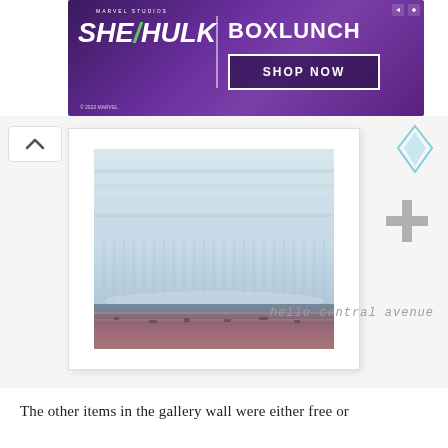[Figure (screenshot): Advertisement banner for BoxLunch She-Hulk Marvel Studios promotion with 'SHOP NOW' button on purple brick background]
[Figure (photo): Framed abstract seascape or landscape artwork with soft blue tones in a white frame, displayed against a light wall. A blue diamond/triangle icon and grey plus icon are visible to the right of the frame. Watermark reads 'hello central avenue' in bottom right.]
The other items in the gallery wall were either free or